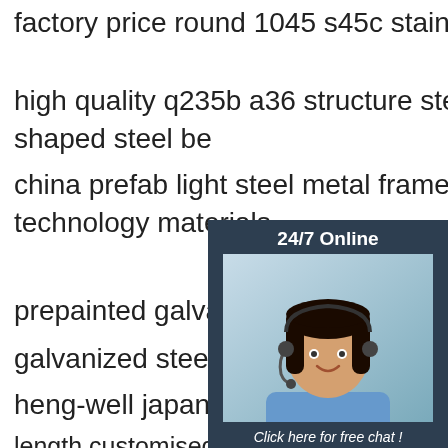factory price round 1045 s45c stainless steel bar price kg
high quality q235b a36 structure steel h beam used light l h shaped steel beam
china prefab light steel metal frame warehouse building new technology materials
prepainted galvalume steel coil ppgl galvanized steel sheet coils
heng-well japan jis c8303 pse approved length customised pc power cable pse power cord
factory sale various explosion bon steel plate cheap bon steel plate
[Figure (photo): A woman wearing a headset smiling, shown in a chat widget with '24/7 Online' header, dark blue background, italic text 'Click here for free chat!' and an orange 'QUOTATION' button.]
[Figure (other): Orange 'TOP' icon with dotted triangle/arrow pointing up, indicating scroll-to-top button.]